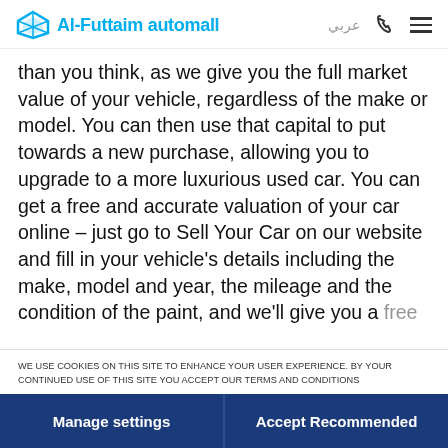Al-Futtaim automall | عربي
than you think, as we give you the full market value of your vehicle, regardless of the make or model. You can then use that capital to put towards a new purchase, allowing you to upgrade to a more luxurious used car. You can get a free and accurate valuation of your car online – just go to Sell Your Car on our website and fill in your vehicle's details including the make, model and year, the mileage and the condition of the paint, and we'll give you a free no obligation valuation
WE USE COOKIES ON THIS SITE TO ENHANCE YOUR USER EXPERIENCE. BY YOUR CONTINUED USE OF THIS SITE YOU ACCEPT OUR TERMS AND CONDITIONS
Manage settings
Accept Recommended